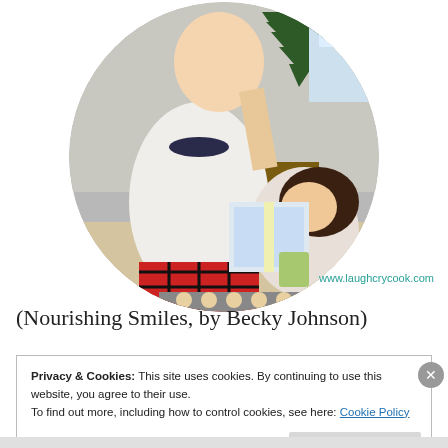[Figure (photo): Circular cropped photo of two children in Christmas pajamas baking cookies together indoors, with a Christmas tree visible in the background. Watermark text 'www.laughcrycook.com' appears at bottom right of the circle.]
(Nourishing Smiles, by Becky Johnson)
Privacy & Cookies: This site uses cookies. By continuing to use this website, you agree to their use.
To find out more, including how to control cookies, see here: Cookie Policy